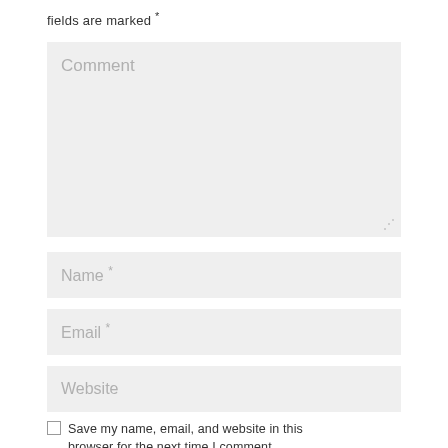fields are marked *
[Figure (other): Comment textarea input field with placeholder text 'Comment']
[Figure (other): Name text input field with placeholder text 'Name *']
[Figure (other): Email text input field with placeholder text 'Email *']
[Figure (other): Website text input field with placeholder text 'Website']
Save my name, email, and website in this browser for the next time I comment.